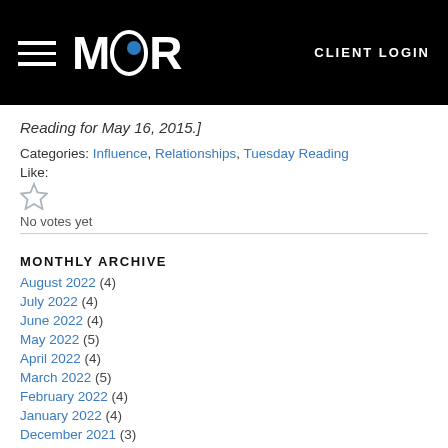MOR | CLIENT LOGIN
Reading for May 16, 2015.]
Categories: Influence, Relationships, Tuesday Reading
Like:
No votes yet
MONTHLY ARCHIVE
August 2022 (4)
July 2022 (4)
June 2022 (4)
May 2022 (5)
April 2022 (4)
March 2022 (5)
February 2022 (4)
January 2022 (4)
December 2021 (3)